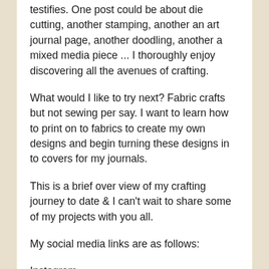testifies. One post could be about die cutting, another stamping, another an art journal page, another doodling, another a mixed media piece ... I thoroughly enjoy discovering all the avenues of crafting.
What would I like to try next? Fabric crafts but not sewing per say. I want to learn how to print on to fabrics to create my own designs and begin turning these designs in to covers for my journals.
This is a brief over view of my crafting journey to date & I can't wait to share some of my projects with you all.
My social media links are as follows:
Instagram – https://www.instagram.com/simslou/
Blogger – www.lulucardmaking.blogspot.com